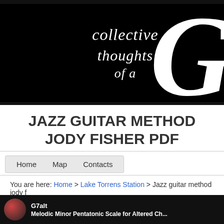[Figure (logo): Black banner with cursive white text reading 'collective thoughts of a' and large decorative white letter G on the right side]
JAZZ GUITAR METHOD JODY FISHER PDF
Home
Map
Contacts
You are here: Home > Lake Torrens Station > Jazz guitar method jody f...
[Figure (screenshot): Dark preview image showing a guitar-related lesson with text 'G7alt' and 'Melodic Minor Pentatonic Scale for Altered Ch...']